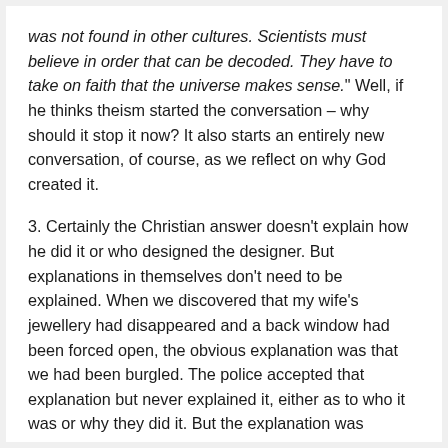was not found in other cultures. Scientists must believe in order that can be decoded. They have to take on faith that the universe makes sense." Well, if he thinks theism started the conversation – why should it stop it now? It also starts an entirely new conversation, of course, as we reflect on why God created it.
3. Certainly the Christian answer doesn't explain how he did it or who designed the designer. But explanations in themselves don't need to be explained. When we discovered that my wife's jewellery had disappeared and a back window had been forced open, the obvious explanation was that we had been burgled. The police accepted that explanation but never explained it, either as to who it was or why they did it. But the explanation was entirely sufficient to account for the observation of the missing jewels, without that explanation itself needing to be explained.